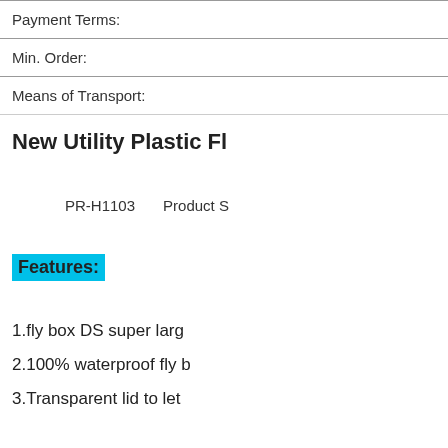Payment Terms:
Min. Order:
Means of Transport:
New Utility Plastic Fl…
PR-H1103    Product S…
Features:
1.fly box DS super larg…
2.100% waterproof fly b…
3.Transparent lid to let…